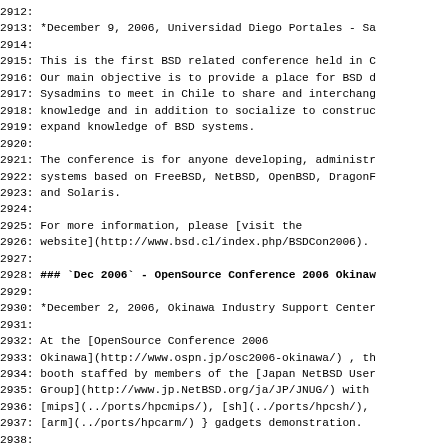2912:
2913: *December 9, 2006, Universidad Diego Portales - Sa
2914:
2915: This is the first BSD related conference held in C
2916: Our main objective is to provide a place for BSD d
2917: Sysadmins to meet in Chile to share and interchang
2918: knowledge and in addition to socialize to construd
2919: expand knowledge of BSD systems.
2920:
2921: The conference is for anyone developing, administr
2922: systems based on FreeBSD, NetBSD, OpenBSD, DragonF
2923: and Solaris.
2924:
2925: For more information, please [visit the
2926: website](http://www.bsd.cl/index.php/BSDCon2006).
2927:
2928: ### `Dec 2006` - OpenSource Conference 2006 Okinaw
2929:
2930: *December 2, 2006, Okinawa Industry Support Center
2931:
2932: At the [OpenSource Conference 2006
2933: Okinawa](http://www.ospn.jp/osc2006-okinawa/) , th
2934: booth staffed by members of the [Japan NetBSD User
2935: Group](http://www.jp.NetBSD.org/ja/JP/JNUG/) with
2936: [mips](../ports/hpcmips/), [sh](../ports/hpcsh/),
2937: [arm](../ports/hpcarm/) } gadgets demonstration.
2938:
2939: ### `Nov 2006` - Hackathon
2940:
2941: NetBSD will run another hackathon, primarily dedic